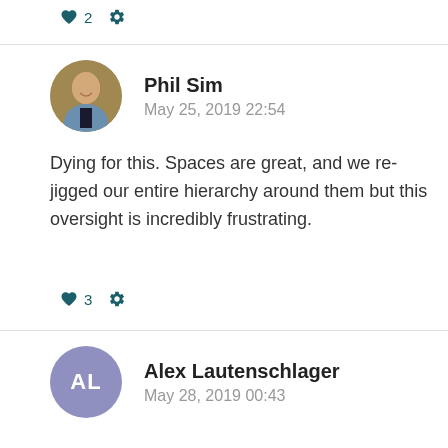[Figure (infographic): Heart icon with count 2 and gear icon for comment actions]
[Figure (photo): Circular profile photo of Phil Sim, a man in a shirt and tie]
Phil Sim
May 25, 2019 22:54
Dying for this. Spaces are great, and we re-jigged our entire hierarchy around them but this oversight is incredibly frustrating.
[Figure (infographic): Heart icon with count 3 and gear icon for comment actions]
[Figure (illustration): Circular avatar with initials AL for Alex Lautenschlager]
Alex Lautenschlager
May 28, 2019 00:43